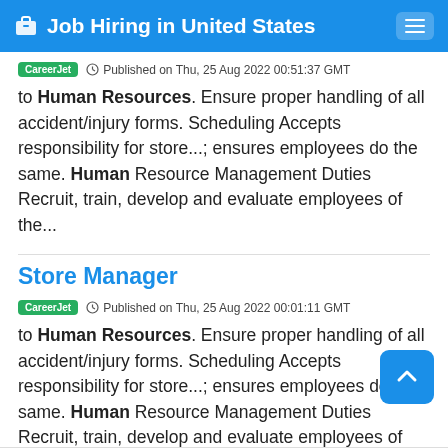Job Hiring in United States
CareerJet  Published on Thu, 25 Aug 2022 00:51:37 GMT
to Human Resources. Ensure proper handling of all accident/injury forms. Scheduling Accepts responsibility for store...; ensures employees do the same. Human Resource Management Duties Recruit, train, develop and evaluate employees of the...
Store Manager
CareerJet  Published on Thu, 25 Aug 2022 00:01:11 GMT
to Human Resources. Ensure proper handling of all accident/injury forms. Scheduling Accepts responsibility for store...; ensures employees do the same. Human Resource Management Duties Recruit, train, develop and evaluate employees of the...